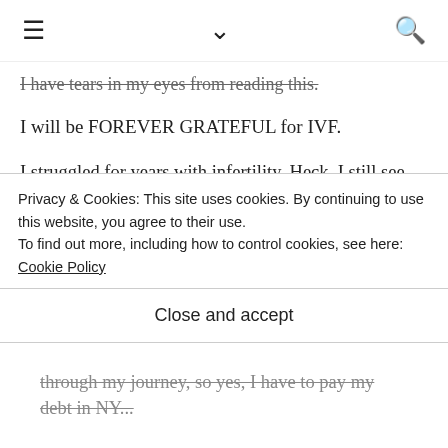≡  ∨  🔍
I have tears in my eyes from reading this.
I will be FOREVER GRATEFUL for IVF.
I struggled for years with infertility. Heck, I still see pregnant women with their adorable little bumps and feel the little mosnter of envy jump inside of me. I did many rounds of Clomid and IUI's before moving on to IVF... my very last chance AND try of becoming a mother, after 2 miscarriages this one IVF finally stuck and made my biggest dreams come true. I am now a mother of boy/girl
Privacy & Cookies: This site uses cookies. By continuing to use this website, you agree to their use.
To find out more, including how to control cookies, see here: Cookie Policy
Close and accept
through my journey, so yes, I have to pay my debt in NY...